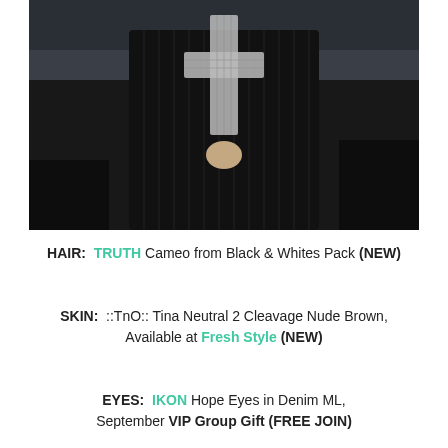[Figure (photo): A person wearing a dark pinstriped long coat/cardigan with a crystal/rhinestone cross decoration, standing outdoors near water]
HAIR:  TRUTH Cameo from Black & Whites Pack (NEW)
SKIN:  ::TnO:: Tina Neutral 2 Cleavage Nude Brown, Available at Fresh Style (NEW)
EYES:  IKON Hope Eyes in Denim ML, September VIP Group Gift (FREE JOIN)